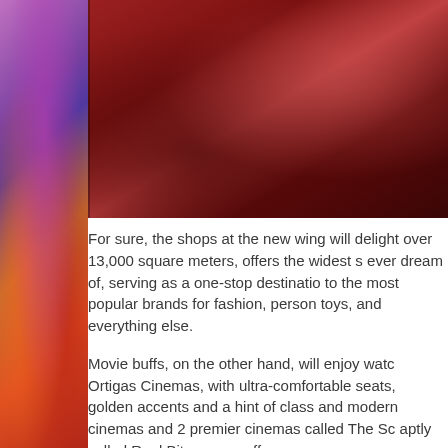[Figure (photo): Left side: colorful abstract graffiti mural with purples, oranges, and reds]
[Figure (photo): Top right: interior photo with deep red/dark tones, appears to be a cinema or lounge interior]
For sure, the shops at the new wing will delight over 13,000 square meters, offers the widest s ever dream of, serving as a one-stop destinatio to the most popular brands for fashion, person toys, and everything else.
Movie buffs, on the other hand, will enjoy watc Ortigas Cinemas, with ultra-comfortable seats, golden accents and a hint of class and modern cinemas and 2 premier cinemas called The Sc aptly called Reel Bites veers off the traditional quirky look and instead employs